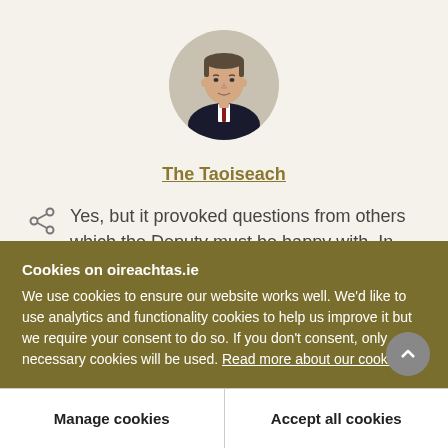[Figure (photo): Circular portrait photo of the Taoiseach, a middle-aged man in a dark suit with a red tie]
The Taoiseach
Yes, but it provoked questions from others which the Deputy must be happy with. In any event, I will deal with the core point he made. I did
Cookies on oireachtas.ie
We use cookies to ensure our website works well. We'd like to use analytics and functionality cookies to help us improve it but we require your consent to do so. If you don't consent, only necessary cookies will be used. Read more about our cookies
Manage cookies
Accept all cookies